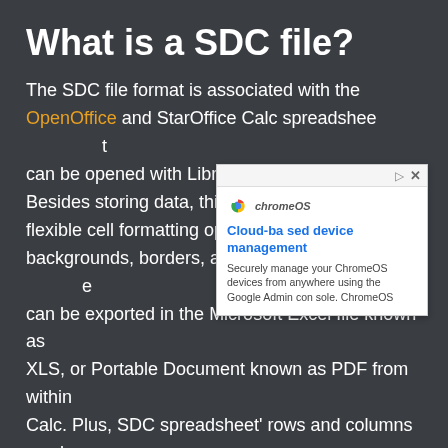What is a SDC file?
The SDC file format is associated with the OpenOffice and StarOffice Calc spreadsheet format. It can be opened with LibreOffice Calc or MS Excel. Besides storing data, this type of file provides flexible cell formatting options such as fonts, backgrounds, borders, and templates. Every SDC file can be exported in the Microsoft Excel file known as XLS, or Portable Document known as PDF from within Calc. Plus, SDC spreadsheet' rows and columns can be easily converted and formatted. In case you didn't find a universal file viewer, you can always use our Converter365 and change the file format form SDC to any other spreadsheet extension.
[Figure (screenshot): An advertisement overlay showing a ChromeOS cloud-based device management ad with Google Chrome logo, headline 'Cloud-based device management', and description 'Securely manage your ChromeOS devices from anywhere using the Google Admin console. ChromeOS']